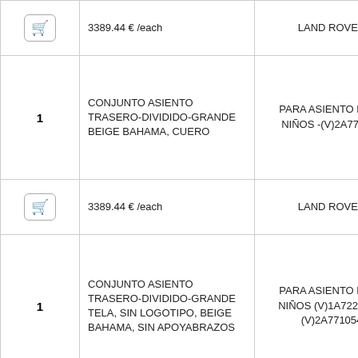| Qty/Cart | Description | Brand/Compatibility |
| --- | --- | --- |
| [cart icon] | 3389.44 € /each | LAND ROVER |
| 1 | CONJUNTO ASIENTO TRASERO-DIVIDIDO-GRANDE BEIGE BAHAMA, CUERO | PARA ASIENTO PARA NIÑOS -(V)2A771054 |
| [cart icon] | 3389.44 € /each | LAND ROVER |
| 1 | CONJUNTO ASIENTO TRASERO-DIVIDIDO-GRANDE TELA, SIN LOGOTIPO, BEIGE BAHAMA, SIN APOYABRAZOS | PARA ASIENTO PARA NIÑOS (V)1A722197- -(V)2A771054 |
| [cart icon] | 2824.56 € /each | LAND ROVER |
| 1 | CONJUNTO ASIENTO TRASERO-DIVIDIDO- | PARA ASIENTO PARA NIÑOS |